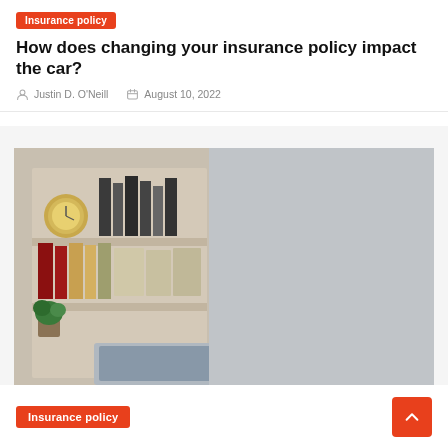Insurance policy
How does changing your insurance policy impact the car?
Justin D. O'Neill   August 10, 2022
[Figure (photo): A young woman with long dark hair wearing glasses and a blue surgical face mask, sitting at a desk working on a laptop. Behind her is a bookshelf with books, a clock, and a small plant. She is wearing a light blue shirt.]
Insurance policy